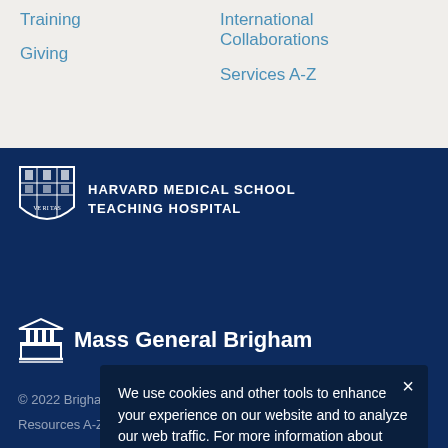Training
Giving
International Collaborations
Services A-Z
[Figure (logo): Harvard Medical School Teaching Hospital shield logo with text HARVARD MEDICAL SCHOOL TEACHING HOSPITAL]
[Figure (logo): Mass General Brigham logo with building/column icon and text Mass General Brigham]
We use cookies and other tools to enhance your experience on our website and to analyze our web traffic. For more information about these cookies and the data collected, please refer to our Privacy Policy.
© 2022 Brigham and Women's Hospital
Resources A-Z